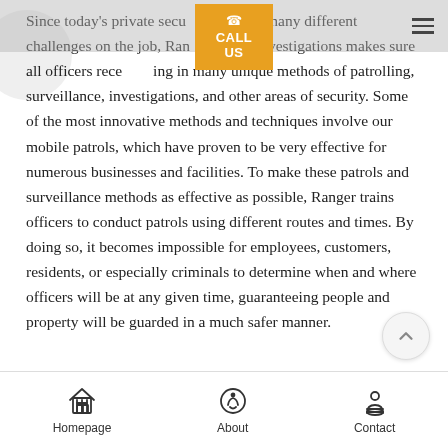Since today's private security officers face many different challenges on the job, Ranger and Investigations makes sure all officers receive training in many unique methods of patrolling, surveillance, investigations, and other areas of security. Some of the most innovative methods and techniques involve our mobile patrols, which have proven to be very effective for numerous businesses and facilities. To make these patrols and surveillance methods as effective as possible, Ranger trains officers to conduct patrols using different routes and times. By doing so, it becomes impossible for employees, customers, residents, or especially criminals to determine when and where officers will be at any given time, guaranteeing people and property will be guarded in a much safer manner.
Homepage | About | Contact